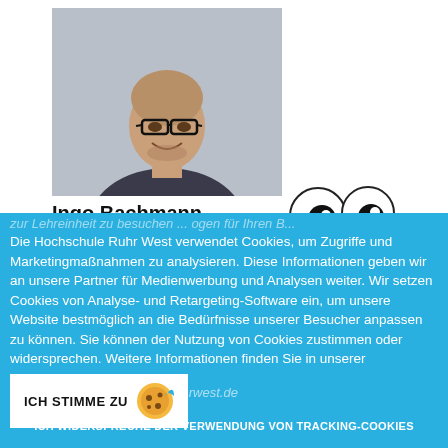[Figure (photo): Profile photo of Ingo Bachmann, a bald man with glasses wearing a dark patterned shirt, smiling, against a light grey background. A cookie/googly eyes icon is partially overlapping the lower right of the photo.]
Ingo Bachmann
Die Hochschule Ruhr West verwendet Cookies, um Zugriffe und Marketingmaßnahmen zu analysieren. Diese Informationen geben wir an unsere Partner für Medienwerbung und Analysen weiter. Wir setzen Cookies von Analyse- und Retargeting-Software ein, um unsere Website bestmöglich an die Bedürfnisse unserer Besucher anpassen zu können. Sie können der Nutzung von Cookies zustimmen oder widersprechen. Weitere Informationen finden Sie in unserer Datenschutzerklärung
ICH STIMME ZU
ICH WIDERSPRECHE DER VERWENDUNG VON TRACKING-COOKIES